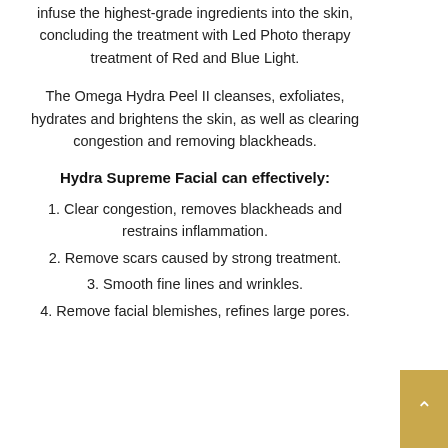infuse the highest-grade ingredients into the skin, concluding the treatment with Led Photo therapy treatment of Red and Blue Light.
The Omega Hydra Peel II cleanses, exfoliates, hydrates and brightens the skin, as well as clearing congestion and removing blackheads.
Hydra Supreme Facial can effectively:
1. Clear congestion, removes blackheads and restrains inflammation.
2. Remove scars caused by strong treatment.
3. Smooth fine lines and wrinkles.
4. Remove facial blemishes, refines large pores.